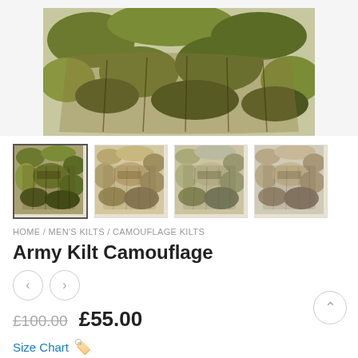[Figure (photo): Army Kilt Camouflage product main image showing green/brown camouflage kilt from above]
[Figure (photo): Thumbnail row of 4 camouflage kilt product images; first is green camo (active/selected), others are desert/tan camo variants]
HOME / MEN'S KILTS / CAMOUFLAGE KILTS
Army Kilt Camouflage
[Figure (other): Previous and next navigation arrow buttons (left and right arrows in circles)]
£100.00  £55.00
Size Chart 🔖
*Color
[Figure (photo): Four color swatch images for the kilt: green camo, grey/white camo, tan/desert camo, green woodland camo]